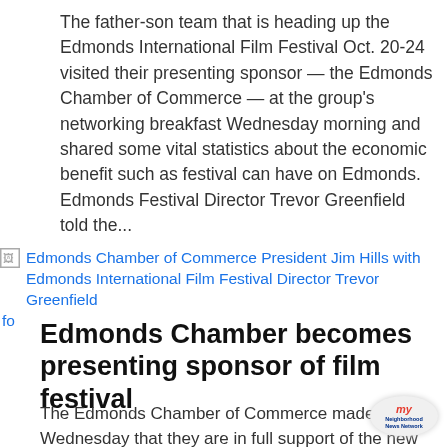The father-son team that is heading up the Edmonds International Film Festival Oct. 20-24 visited their presenting sponsor — the Edmonds Chamber of Commerce — at the group's networking breakfast Wednesday morning and shared some vital statistics about the economic benefit such as festival can have on Edmonds. Edmonds Festival Director Trevor Greenfield told the...
[Figure (photo): Broken image placeholder with alt text: Edmonds Chamber of Commerce President Jim Hills with Edmonds International Film Festival Director Trevor Greenfield fo]
Edmonds Chamber becomes presenting sponsor of film festival
The Edmonds Chamber of Commerce made it kn... Wednesday that they are in full support of the ne... Edmonds International Film Festival, by becoming the
[Figure (logo): My Neighborhood News Network logo badge]